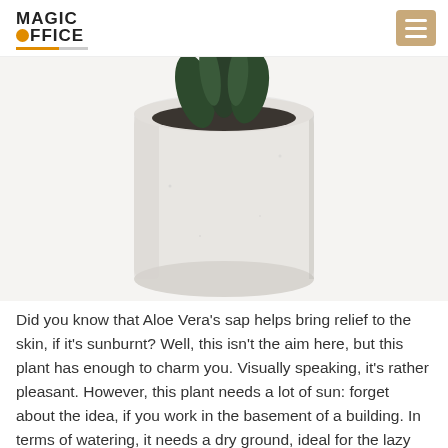MAGIC OFFICE
[Figure (photo): A small succulent or aloe vera plant in a white cylindrical concrete pot, photographed on a white background. The plant's dark green leaves are visible at the top of the pot.]
Did you know that Aloe Vera's sap helps bring relief to the skin, if it's sunburnt? Well, this isn't the aim here, but this plant has enough to charm you. Visually speaking, it's rather pleasant. However, this plant needs a lot of sun: forget about the idea, if you work in the basement of a building. In terms of watering, it needs a dry ground, ideal for the lazy bums inside you. It makes do with 1 watering